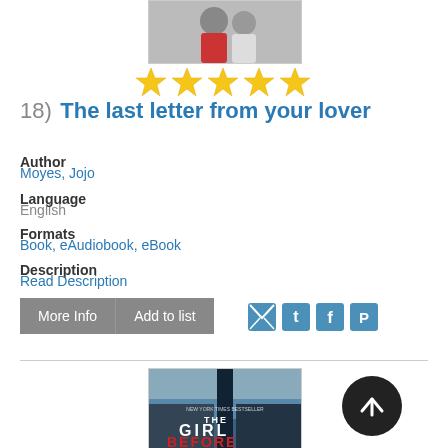[Figure (photo): Top portion of a book cover showing two people, one in red and one in grey/white, in a romantic scene]
[Figure (other): Five yellow star rating icons]
18)  The last letter from your lover
Author
Moyes, Jojo
Language
English
Formats
Book, eAudiobook, eBook
Description
Read Description
[Figure (photo): Book cover for 'The Girl Before' showing a dark atmospheric building against a blue sky]